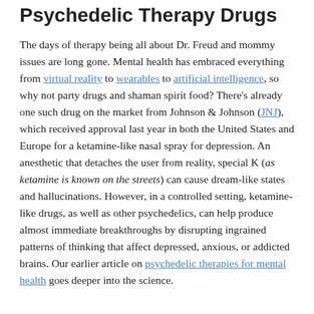Psychedelic Therapy Drugs
The days of therapy being all about Dr. Freud and mommy issues are long gone. Mental health has embraced everything from virtual reality to wearables to artificial intelligence, so why not party drugs and shaman spirit food? There's already one such drug on the market from Johnson & Johnson (JNJ), which received approval last year in both the United States and Europe for a ketamine-like nasal spray for depression. An anesthetic that detaches the user from reality, special K (as ketamine is known on the streets) can cause dream-like states and hallucinations. However, in a controlled setting, ketamine-like drugs, as well as other psychedelics, can help produce almost immediate breakthroughs by disrupting ingrained patterns of thinking that affect depressed, anxious, or addicted brains. Our earlier article on psychedelic therapies for mental health goes deeper into the science.